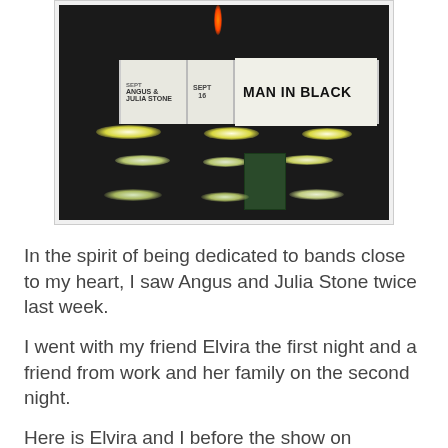[Figure (photo): Nighttime photo of a venue marquee showing 'ANGUS & JULIA STONE' and 'SEPT 16 MAN IN BLACK' signs, with ceiling lights visible in a dark parking lot or entrance area]
In the spirit of being dedicated to bands close to my heart, I saw Angus and Julia Stone twice last week.
I went with my friend Elvira the first night and a friend from work and her family on the second night.
Here is Elvira and I before the show on Thursday.
[Figure (photo): Dark photo partially visible at bottom, showing two people before the show on Thursday night]